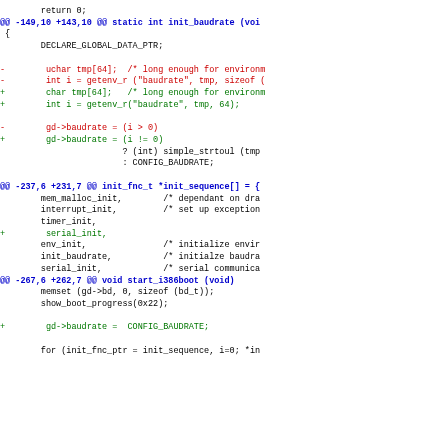Code diff showing changes to init_baudrate and init_sequence functions in a C source file, including git diff hunk headers and added/removed lines.